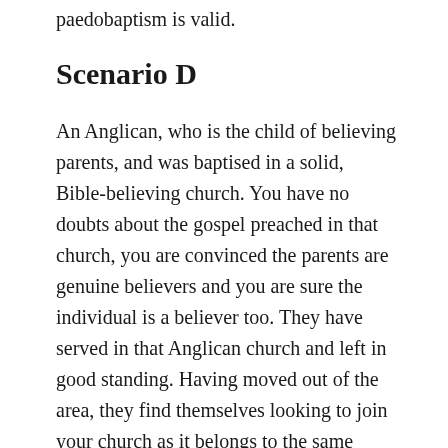paedobaptism is valid.
Scenario D
An Anglican, who is the child of believing parents, and was baptised in a solid, Bible-believing church. You have no doubts about the gospel preached in that church, you are convinced the parents are genuine believers and you are sure the individual is a believer too. They have served in that Anglican church and left in good standing. Having moved out of the area, they find themselves looking to join your church as it belongs to the same gospel partnership as their previous Anglican Church. They are adamant that their paedobaptism is valid.